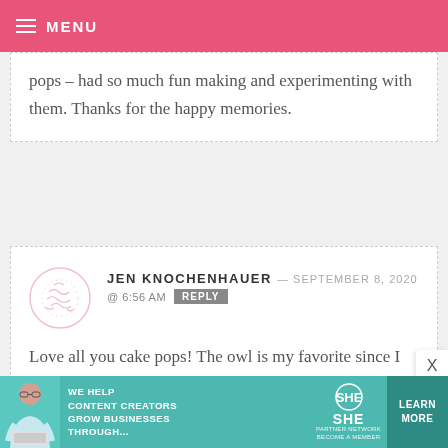MENU
pops – had so much fun making and experimenting with them. Thanks for the happy memories.
JEN KNOCHENHAUER — SEPTEMBER 8, 2020 @ 6:56 AM REPLY
Love all you cake pops! The owl is my favorite since I did the for my daughter's first birthday ??
[Figure (infographic): SHE Media Partner Network advertisement banner with teal background, photo of woman, and Learn More button]